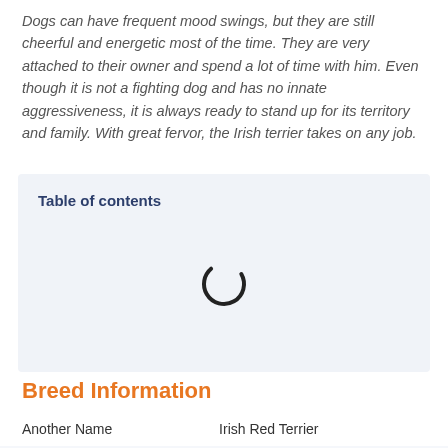Dogs can have frequent mood swings, but they are still cheerful and energetic most of the time. They are very attached to their owner and spend a lot of time with him. Even though it is not a fighting dog and has no innate aggressiveness, it is always ready to stand up for its territory and family. With great fervor, the Irish terrier takes on any job.
Table of contents
[Figure (other): Loading spinner icon (circular arc) indicating content is loading]
Breed Information
| Another Name | Irish Red Terrier |
| Origin | Ireland |